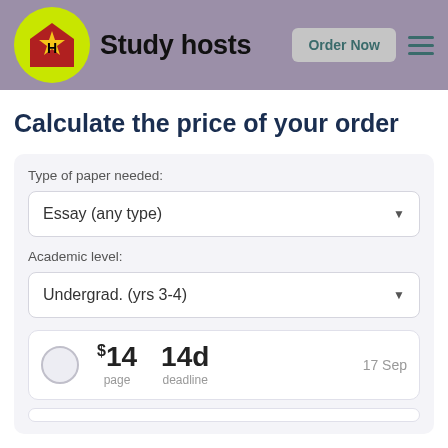Study hosts | Order Now
Calculate the price of your order
Type of paper needed:
Essay (any type)
Academic level:
Undergrad. (yrs 3-4)
$14 page | 14d deadline | 17 Sep